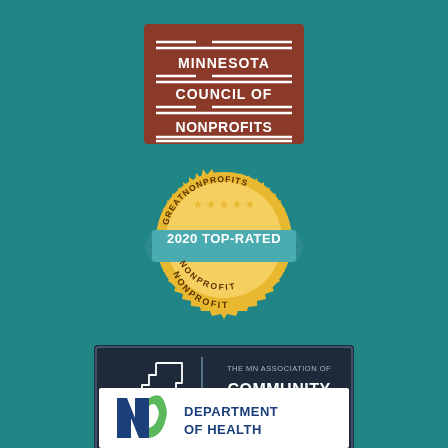[Figure (logo): Minnesota Council of Nonprofits logo — dark red/brown square with white horizontal lines and white text reading MINNESOTA COUNCIL OF NONPROFITS]
[Figure (logo): GreatNonprofits 2020 Top-Rated Nonprofit badge — gold circular seal with stars, teal ribbon banner reading 2020 TOP-RATED, text GREATNONPROFITS and NONPROFIT]
[Figure (logo): MACMHP logo — The MN Association of Community Mental Health Programs. Dark navy rectangle with white outline of Minnesota state, MACMHP text, vertical divider, and text COMMUNITY MENTAL HEALTH PROGRAMS with tagline ADVOCATE. INNOVATE. COLLABORATE.]
[Figure (logo): Minnesota Department of Health logo — white rectangle with blue and green M-shaped mark and text DEPARTMENT OF HEALTH]